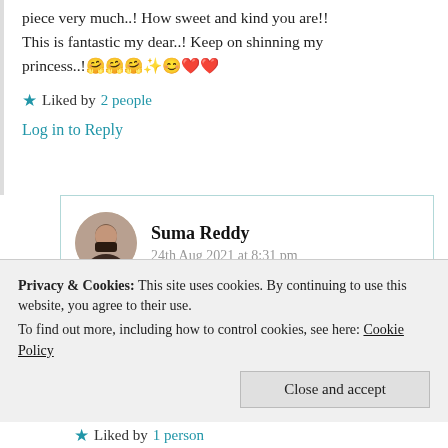piece very much..! How sweet and kind you are!! This is fantastic my dear..! Keep on shinning my princess..!🤗🤗🤗✨😊❤️❤️
★ Liked by 2 people
Log in to Reply
Suma Reddy
24th Aug 2021 at 8:31 pm
Privacy & Cookies: This site uses cookies. By continuing to use this website, you agree to their use. To find out more, including how to control cookies, see here: Cookie Policy
Close and accept
★ Liked by 1 person